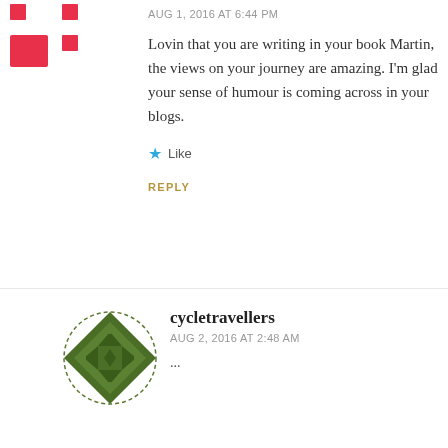[Figure (logo): Partial pink/red pixelated logo in top-left corner]
AUG 1, 2016 AT 6:44 PM
Lovin that you are writing in your book Martin, the views on your journey are amazing. I'm glad your sense of humour is coming across in your blogs.
Like
REPLY
[Figure (logo): Green diamond quilt-pattern logo for cycletravellers]
cycletravellers
AUG 2, 2016 AT 2:48 AM
...